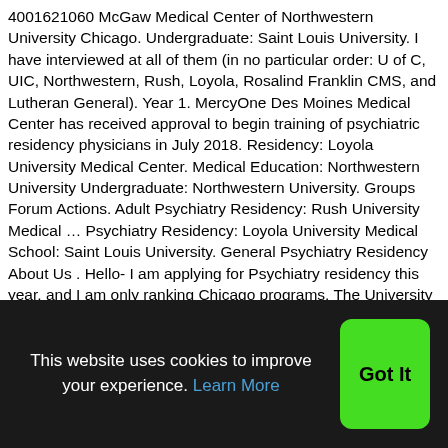4001621060 McGaw Medical Center of Northwestern University Chicago. Undergraduate: Saint Louis University. I have interviewed at all of them (in no particular order: U of C, UIC, Northwestern, Rush, Loyola, Rosalind Franklin CMS, and Lutheran General). Year 1. MercyOne Des Moines Medical Center has received approval to begin training of psychiatric residency physicians in July 2018. Residency: Loyola University Medical Center. Medical Education: Northwestern University Undergraduate: Northwestern University. Groups Forum Actions. Adult Psychiatry Residency: Rush University Medical ... Psychiatry Residency: Loyola University Medical School: Saint Louis University. General Psychiatry Residency About Us . Hello- I am applying for Psychiatry residency this year, and I am only ranking Chicago programs. The University of Chicago Department of Psychiatry and Behavioral Neuroscience Billings Hospital 5841 S. Maryland Avenue Chicago, IL 60637 773-702-9350 Both the location and
This website uses cookies to improve your experience. Learn More